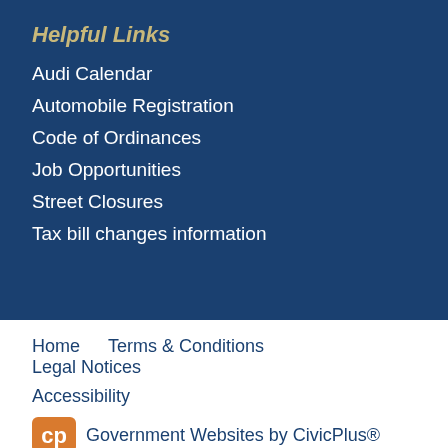Helpful Links
Audi Calendar
Automobile Registration
Code of Ordinances
Job Opportunities
Street Closures
Tax bill changes information
Home    Terms & Conditions    Legal Notices    Accessibility    Government Websites by CivicPlus®